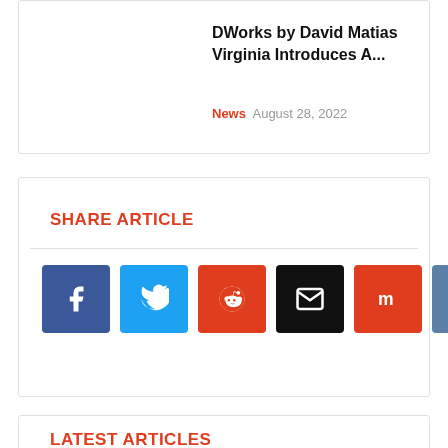DWorks by David Matias Virginia Introduces A...
News  August 28, 2022
SHARE ARTICLE
[Figure (infographic): Social sharing buttons: Facebook (blue), Twitter (light blue), Reddit (red-orange), Email (black), Mix (red-orange), VK (steel blue)]
LATEST ARTICLES